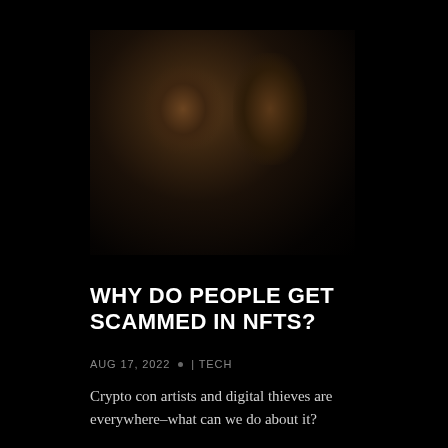[Figure (illustration): Dark, low-contrast classical painting or illustration showing figures in shadow, reminiscent of Baroque style artwork with dark browns and blacks]
WHY DO PEOPLE GET SCAMMED IN NFTS?
AUG 17, 2022 • | TECH
Crypto con artists and digital thieves are everywhere–what can we do about it?